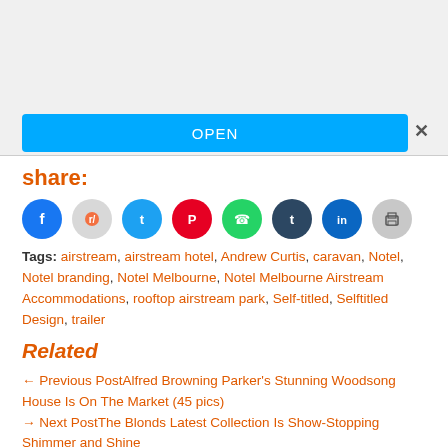[Figure (screenshot): Advertisement banner with blue OPEN button and close X]
share:
[Figure (infographic): Row of social share icons: Facebook (blue), Reddit (light grey), Twitter (blue), Pinterest (red/dark), WhatsApp (green), Tumblr (dark navy), LinkedIn (teal), Print (grey)]
Tags: airstream, airstream hotel, Andrew Curtis, caravan, Notel, Notel branding, Notel Melbourne, Notel Melbourne Airstream Accommodations, rooftop airstream park, Self-titled, Selftitled Design, trailer
Related
← Previous PostAlfred Browning Parker's Stunning Woodsong House Is On The Market (45 pics)
→ Next PostThe Blonds Latest Collection Is Show-Stopping Shimmer and Shine